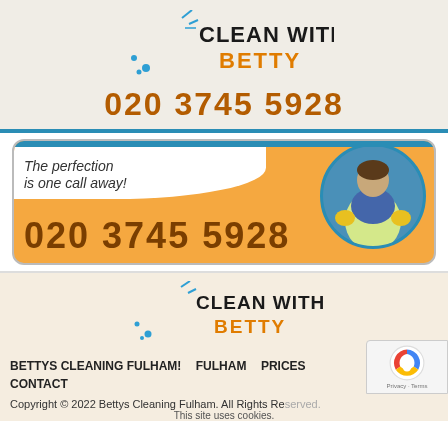[Figure (logo): Clean With Betty logo with blue crescent and sparkle, text CLEAN WITH in dark, BETTY in orange]
020 3745 5928
[Figure (infographic): Orange banner with cleaning lady photo, tagline 'The perfection is one call away!' and phone number 020 3745 5928]
[Figure (logo): Clean With Betty logo (footer version) with blue crescent and sparkle, text CLEAN WITH in dark, BETTY in orange]
BETTYS CLEANING FULHAM!
FULHAM
PRICES
CONTACT
Copyright © 2022 Bettys Cleaning Fulham. All Rights Reserved.
This site uses cookies.